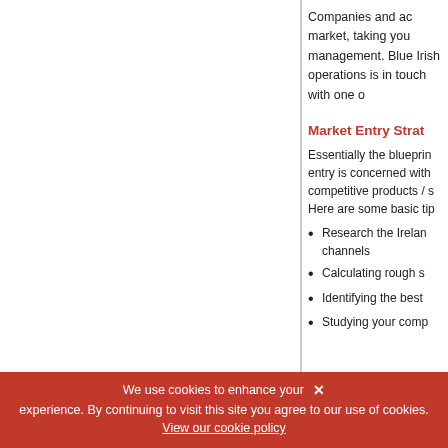Companies and ac market, taking you management. Blue Irish operations is in touch with one o
Market Entry Strat
Essentially the blueprin entry is concerned with competitive products / s Here are some basic tip
Research the Irelan channels
Calculating rough s
Identifying the best
Studying your comp
We use cookies to enhance your experience. By continuing to visit this site you agree to our use of cookies. View our cookie policy